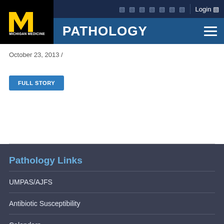[Figure (logo): University of Michigan Medicine logo — block M in yellow on black background with 'MICHIGAN MEDICINE' text below]
PATHOLOGY
October 23, 2013 /
FULL STORY
Pathology Links
UMPAS/AJFS
Antibiotic Susceptibility
Calendars